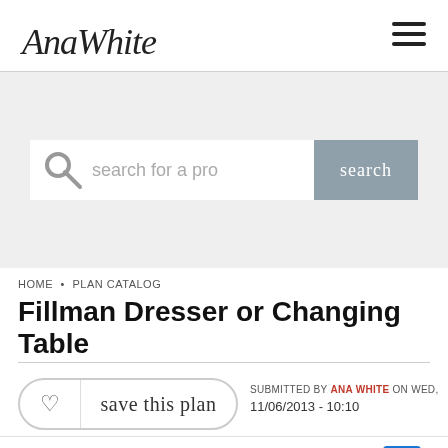AnaWhite
[Figure (screenshot): Search bar with magnifying glass icon, placeholder text 'search for a project', and a grey 'search' button on a light grey background]
HOME • PLAN CATALOG
Fillman Dresser or Changing Table
♡ save this plan — SUBMITTED BY ANA WHITE ON WED, 11/06/2013 - 10:10
[Figure (screenshot): Advertisement banner: Pop in & Shop New Arrivals World Market with play button and directional arrow icon]